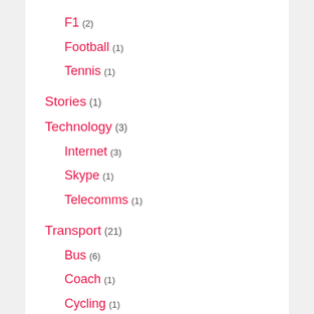F1 (2)
Football (1)
Tennis (1)
Stories (1)
Technology (3)
Internet (3)
Skype (1)
Telecomms (1)
Transport (21)
Bus (6)
Coach (1)
Cycling (1)